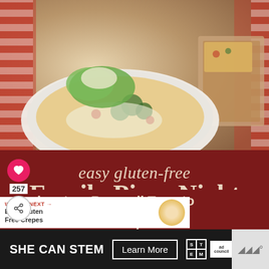[Figure (photo): Pizza flatbreads on white plate with broccoli, tomatoes, lettuce and cheese, on red and white checkered tablecloth background]
easy gluten-free Family Pizza Night recipes
257
WHAT'S NEXT → Easy Gluten Free Crepes
ipasto ~ Broccoli Tomato n Caesar Salad ~ Hawaiian
SHE CAN STEM   Learn More